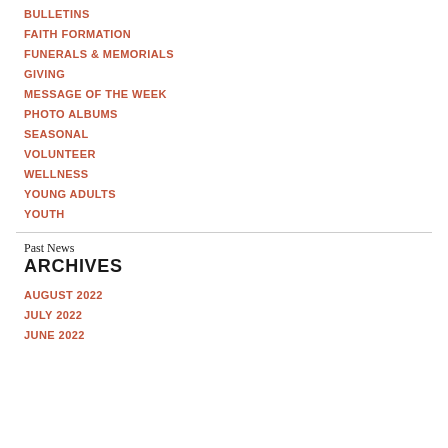BULLETINS
FAITH FORMATION
FUNERALS & MEMORIALS
GIVING
MESSAGE OF THE WEEK
PHOTO ALBUMS
SEASONAL
VOLUNTEER
WELLNESS
YOUNG ADULTS
YOUTH
Past News
ARCHIVES
AUGUST 2022
JULY 2022
JUNE 2022